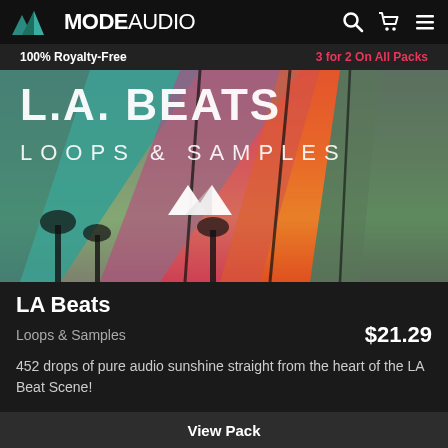MODE AUDIO
100% Royalty-Free   3 for 2 On All Packs
[Figure (photo): LA Beats album artwork showing colorful geometric landscape with palm trees, white text reading L.A. BEATS LOOPS & SAMPLES and double-triangle ModeAudio logo]
LA Beats
Loops & Samples   $21.29
452 drops of pure audio sunshine straight from the heart of the LA Beat Scene!
View Pack